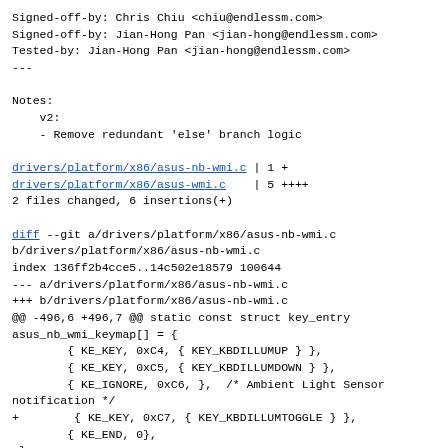Signed-off-by: Chris Chiu <chiu@endlessm.com>
Signed-off-by: Jian-Hong Pan <jian-hong@endlessm.com>
Tested-by: Jian-Hong Pan <jian-hong@endlessm.com>
---

Notes:
    v2:
    - Remove redundant 'else' branch logic

drivers/platform/x86/asus-nb-wmi.c | 1 +
drivers/platform/x86/asus-wmi.c    | 5 ++++
2 files changed, 6 insertions(+)

diff --git a/drivers/platform/x86/asus-nb-wmi.c
b/drivers/platform/x86/asus-nb-wmi.c
index 136ff2b4cce5..14c502e18579 100644
--- a/drivers/platform/x86/asus-nb-wmi.c
+++ b/drivers/platform/x86/asus-nb-wmi.c
@@ -496,6 +496,7 @@ static const struct key_entry
asus_nb_wmi_keymap[] = {
        { KE_KEY, 0xC4, { KEY_KBDILLUMUP } },
        { KE_KEY, 0xC5, { KEY_KBDILLUMDOWN } },
        { KE_IGNORE, 0xC6, },  /* Ambient Light Sensor
notification */
+        { KE_KEY, 0xC7, { KEY_KBDILLUMTOGGLE } },
        { KE_END, 0},
 };

diff --git a/drivers/platform/x86/asus-wmi.c
b/drivers/platform/x86/asus-wmi.c